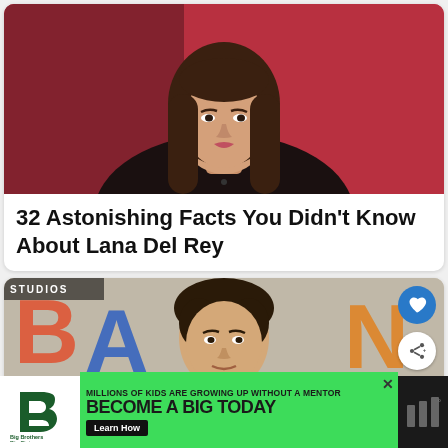[Figure (photo): Photo of Lana Del Rey against a red background, wearing a black top, with long dark hair]
32 Astonishing Facts You Didn't Know About Lana Del Rey
[Figure (photo): Photo of a young man at what appears to be a Marvel Studios event, with colorful text/logos in background]
MILLIONS OF KIDS ARE GROWING UP WITHOUT A MENTOR. BECOME A BIG TODAY — Learn How